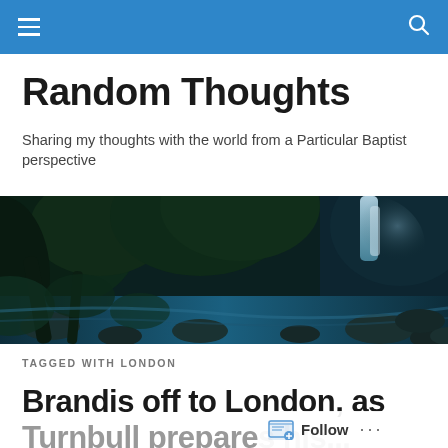Navigation bar with menu and search icons
Random Thoughts
Sharing my thoughts with the world from a Particular Baptist perspective
[Figure (photo): A dark forest scene with a waterfall and stream flowing over rocks, surrounded by lush green ferns and trees]
TAGGED WITH LONDON
Brandis off to London, as Turnbull prepares his...
Follow ...